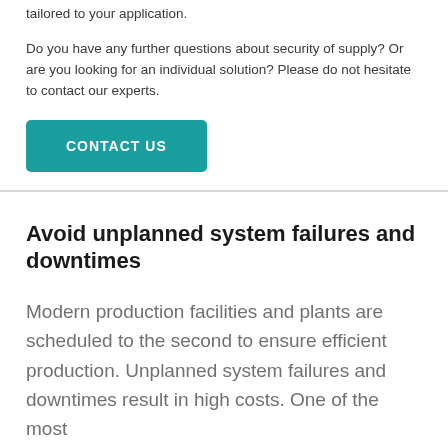tailored to your application.
Do you have any further questions about security of supply? Or are you looking for an individual solution? Please do not hesitate to contact our experts.
[Figure (other): Teal/turquoise button labeled CONTACT US]
Avoid unplanned system failures and downtimes
Modern production facilities and plants are scheduled to the second to ensure efficient production. Unplanned system failures and downtimes result in high costs. One of the most